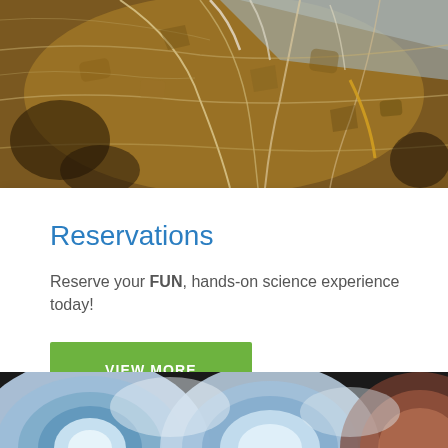[Figure (photo): Close-up photograph of a tortoise shell showing brown and tan patterned scutes with intricate markings]
Reservations
Reserve your FUN, hands-on science experience today!
VIEW MORE
[Figure (photo): Close-up photograph of blue and white geode or agate crystal cross-section]